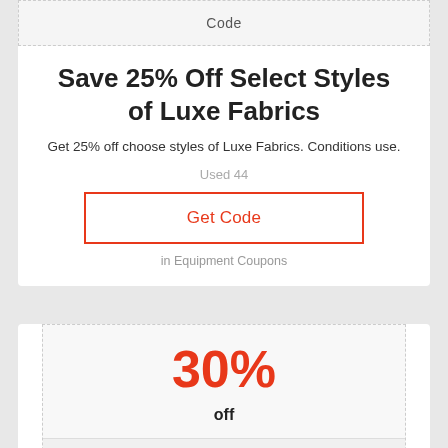Code
Save 25% Off Select Styles of Luxe Fabrics
Get 25% off choose styles of Luxe Fabrics. Conditions use.
Used 44
Get Code
in Equipment Coupons
30%
off
Code